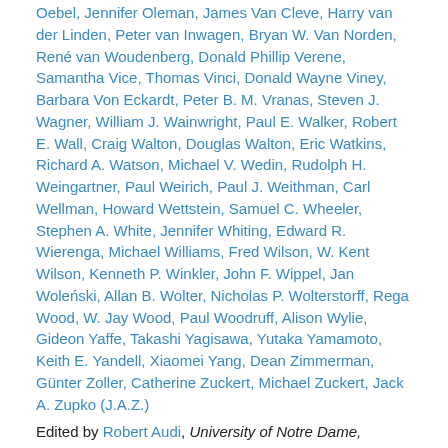Oebel, Jennifer Oleman, James Van Cleve, Harry van der Linden, Peter van Inwagen, Bryan W. Van Norden, René van Woudenberg, Donald Phillip Verene, Samantha Vice, Thomas Vinci, Donald Wayne Viney, Barbara Von Eckardt, Peter B. M. Vranas, Steven J. Wagner, William J. Wainwright, Paul E. Walker, Robert E. Wall, Craig Walton, Douglas Walton, Eric Watkins, Richard A. Watson, Michael V. Wedin, Rudolph H. Weingartner, Paul Weirich, Paul J. Weithman, Carl Wellman, Howard Wettstein, Samuel C. Wheeler, Stephen A. White, Jennifer Whiting, Edward R. Wierenga, Michael Williams, Fred Wilson, W. Kent Wilson, Kenneth P. Winkler, John F. Wippel, Jan Woleński, Allan B. Wolter, Nicholas P. Wolterstorff, Rega Wood, W. Jay Wood, Paul Woodruff, Alison Wylie, Gideon Yaffe, Takashi Yagisawa, Yutaka Yamamoto, Keith E. Yandell, Xiaomei Yang, Dean Zimmerman, Günter Zoller, Catherine Zuckert, Michael Zuckert, Jack A. Zupko (J.A.Z.)
Edited by Robert Audi, University of Notre Dame, Indiana
Book: The Cambridge Dictionary of Philosophy
Published online: 05 August 2015
Print publication: 27 April 2015, pp i-xxv